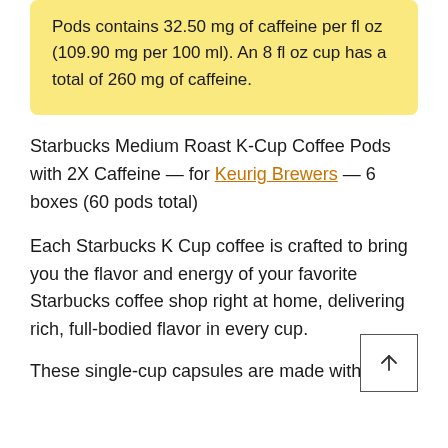Pods contains 32.50 mg of caffeine per fl oz (109.90 mg per 100 ml). An 8 fl oz cup has a total of 260 mg of caffeine.
Starbucks Medium Roast K-Cup Coffee Pods with 2X Caffeine — for Keurig Brewers — 6 boxes (60 pods total)
Each Starbucks K Cup coffee is crafted to bring you the flavor and energy of your favorite Starbucks coffee shop right at home, delivering rich, full-bodied flavor in every cup.
These single-cup capsules are made with a